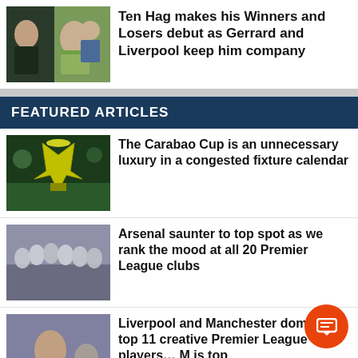[Figure (photo): Football players and manager photo collage]
Ten Hag makes his Winners and Losers debut as Gerrard and Liverpool keep him company
FEATURED ARTICLES
[Figure (photo): Carabao Cup trophy photo]
The Carabao Cup is an unnecessary luxury in a congested fixture calendar
[Figure (photo): Premier League football team group photo]
Arsenal saunter to top spot as we rank the mood at all 20 Premier League clubs
[Figure (photo): Premier League player photo]
Liverpool and Manchester dominate top 11 creative Premier League players… M is top